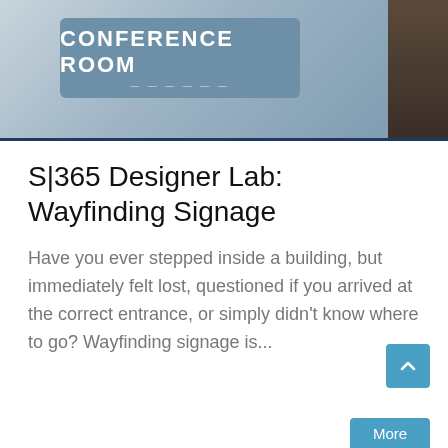[Figure (photo): Photo of a blue-gray conference room sign mounted on a wall reading 'CONFERENCE ROOM', with a dark wood panel on the right side.]
S|365 Designer Lab: Wayfinding Signage
Have you ever stepped inside a building, but immediately felt lost, questioned if you arrived at the correct entrance, or simply didn't know where to go? Wayfinding signage is...